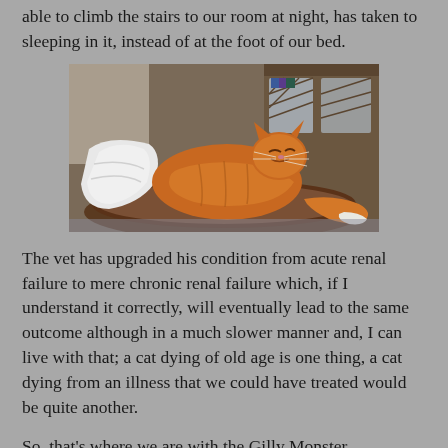able to climb the stairs to our room at night, has taken to sleeping in it, instead of at the foot of our bed.
[Figure (photo): An orange/ginger cat sleeping curled up in a brown dog/pet bed with a white blanket, in front of a wooden cabinet with glass doors.]
The vet has upgraded his condition from acute renal failure to mere chronic renal failure which, if I understand it correctly, will eventually lead to the same outcome although in a much slower manner and, I can live with that; a cat dying of old age is one thing, a cat dying from an illness that we could have treated would be quite another.
So, that's where we are with the Gilly Monster.